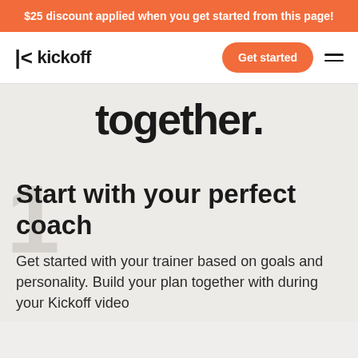$25 discount applied when you get started from this page!
[Figure (logo): Kickoff app logo with stylized K icon and 'kickoff' wordmark, plus Get started button and hamburger menu]
together.
Start with your perfect coach
Get started with your trainer based on goals and personality. Build your plan together with during your Kickoff video